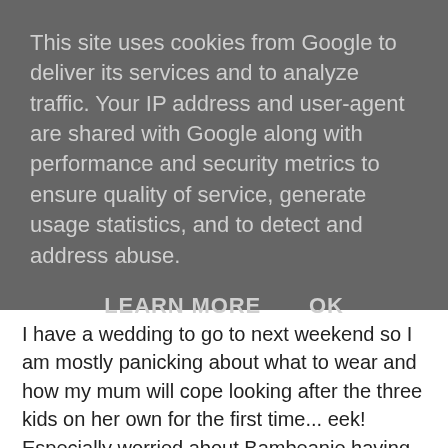This site uses cookies from Google to deliver its services and to analyze traffic. Your IP address and user-agent are shared with Google along with performance and security metrics to ensure quality of service, generate usage statistics, and to detect and address abuse.
LEARN MORE   OK
I have a wedding to go to next weekend so I am mostly panicking about what to wear and how my mum will cope looking after the three kids on her own for the first time... eek! Especially worried about Bambeanie having two or three of his feeds from a bottle. He's not so keen.
[Figure (illustration): An illustration featuring moustache designs and large green letters spelling 'FUN' with decorative mustache graphics on a white background.]